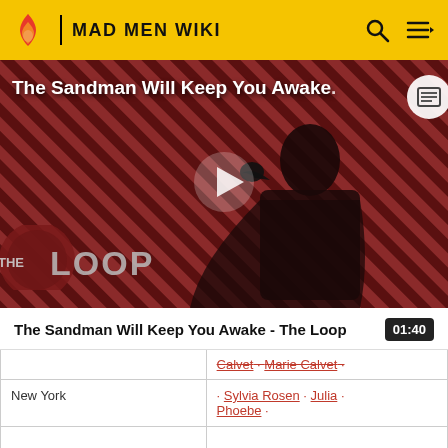MAD MEN WIKI
[Figure (screenshot): Video thumbnail for 'The Sandman Will Keep You Awake - The Loop' showing a dark figure in black against a red and black diagonal striped background, with THE LOOP logo in the lower left and a play button in the center.]
The Sandman Will Keep You Awake - The Loop  01:40
|  | Calvet · Marie Calvet · |
| New York | • Sylvia Rosen • Julia • Phoebe • |